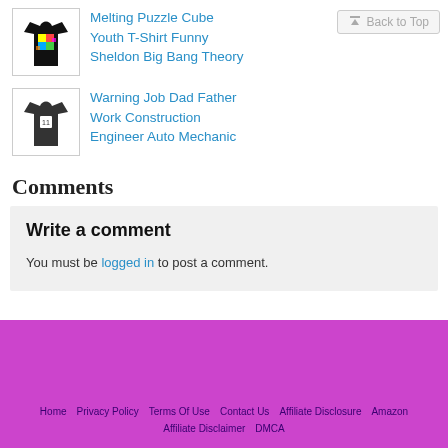[Figure (photo): Black t-shirt with colorful Melting Puzzle Cube graphic]
Melting Puzzle Cube Youth T-Shirt Funny Sheldon Big Bang Theory
[Figure (photo): Dark grey t-shirt with construction/mechanic graphic]
Warning Job Dad Father Work Construction Engineer Auto Mechanic
Comments
Write a comment
You must be logged in to post a comment.
Home  Privacy Policy  Terms Of Use  Contact Us  Affiliate Disclosure  Amazon  Affiliate Disclaimer  DMCA